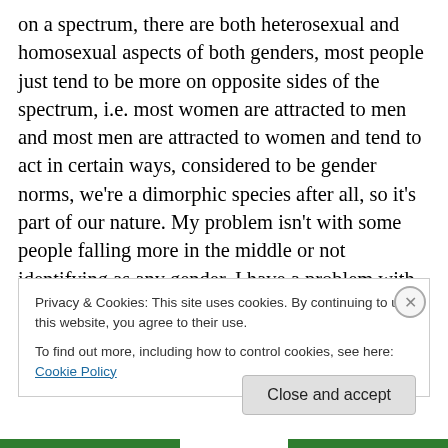on a spectrum, there are both heterosexual and homosexual aspects of both genders, most people just tend to be more on opposite sides of the spectrum, i.e. most women are attracted to men and most men are attracted to women and tend to act in certain ways, considered to be gender norms, we're a dimorphic species after all, so it's part of our nature. My problem isn't with some people falling more in the middle or not identifying as any gender. I have a problem with some of the more radical ideas among feminists and some of the LGBT movements, that there are no natural aspects of sexuality
Privacy & Cookies: This site uses cookies. By continuing to use this website, you agree to their use.
To find out more, including how to control cookies, see here: Cookie Policy
Close and accept